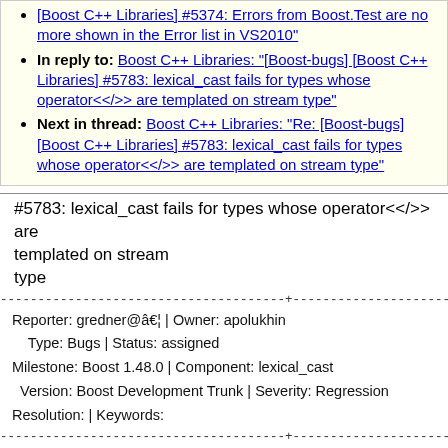[Boost C++ Libraries] #5374: Errors from Boost.Test are no more shown in the Error list in VS2010"
In reply to: Boost C++ Libraries: "[Boost-bugs] [Boost C++ Libraries] #5783: lexical_cast fails for types whose operator<</>> are templated on stream type"
Next in thread: Boost C++ Libraries: "Re: [Boost-bugs] [Boost C++ Libraries] #5783: lexical_cast fails for types whose operator<</>> are templated on stream type"
#5783: lexical_cast fails for types whose operator<</>> are templated on stream type
Reporter: gredner@â€¦ | Owner: apolukhin
Type: Bugs | Status: assigned
Milestone: Boost 1.48.0 | Component: lexical_cast
Version: Boost Development Trunk | Severity: Regression
Resolution: | Keywords:
Comment (by apolukhin):
Great thanks for reporting this bug!